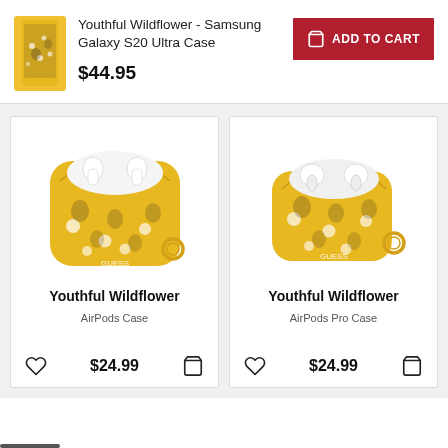[Figure (photo): Yellow floral Samsung Galaxy S20 Ultra phone case product thumbnail]
Youthful Wildflower - Samsung Galaxy S20 Ultra Case
$44.95
ADD TO CART
[Figure (photo): Youthful Wildflower AirPods Case - yellow with black floral pattern and gold ring, open showing white AirPods]
Youthful Wildflower
AirPods Case
$24.99
[Figure (photo): Youthful Wildflower AirPods Pro Case - yellow with black floral pattern and gold ring, open showing AirPods Pro]
Youthful Wildflower
AirPods Pro Case
$24.99